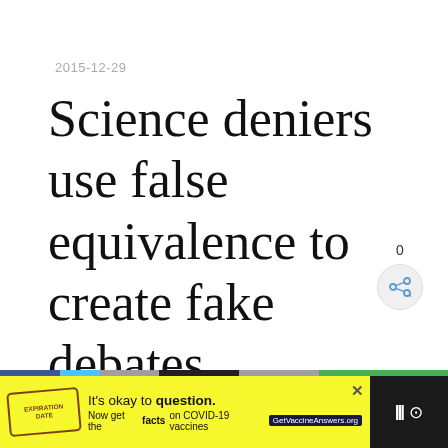2015-12-29
Science deniers use false equivalence to create fake debates
[Figure (infographic): Vote count (0) and share button icon in the lower right of the article area]
[Figure (infographic): Bottom navigation bar with colored segments (blue, light blue, grey, black, grey, green) and a yellow ad banner reading: It's okay to question. Now get the facts on COVID-19 vaccines GetVaccineAnswers.org, with a close X button and a stamp logo on the left, and dark nav icons on the right.]